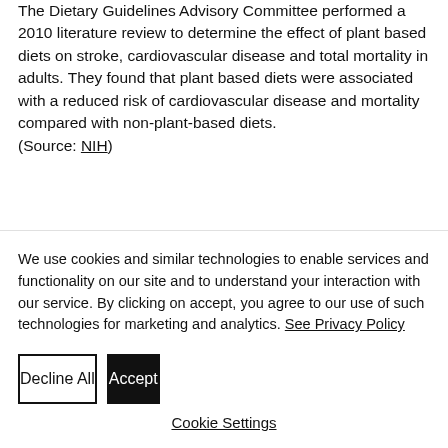The Dietary Guidelines Advisory Committee performed a 2010 literature review to determine the effect of plant based diets on stroke, cardiovascular disease and total mortality in adults. They found that plant based diets were associated with a reduced risk of cardiovascular disease and mortality compared with non-plant-based diets. (Source: NIH)
We use cookies and similar technologies to enable services and functionality on our site and to understand your interaction with our service. By clicking on accept, you agree to our use of such technologies for marketing and analytics. See Privacy Policy
Decline All
Accept
Cookie Settings